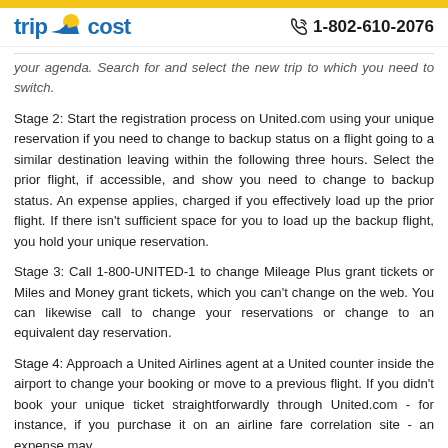trip cost | 1-802-610-2076
your agenda. Search for and select the new trip to which you need to switch.
Stage 2: Start the registration process on United.com using your unique reservation if you need to change to backup status on a flight going to a similar destination leaving within the following three hours. Select the prior flight, if accessible, and show you need to change to backup status. An expense applies, charged if you effectively load up the prior flight. If there isn't sufficient space for you to load up the backup flight, you hold your unique reservation.
Stage 3: Call 1-800-UNITED-1 to change Mileage Plus grant tickets or Miles and Money grant tickets, which you can't change on the web. You can likewise call to change your reservations or change to an equivalent day reservation.
Stage 4: Approach a United Airlines agent at a United counter inside the airport to change your booking or move to a previous flight. If you didn't book your unique ticket straightforwardly through United.com - for instance, if you purchase it on an airline fare correlation site - an expense may